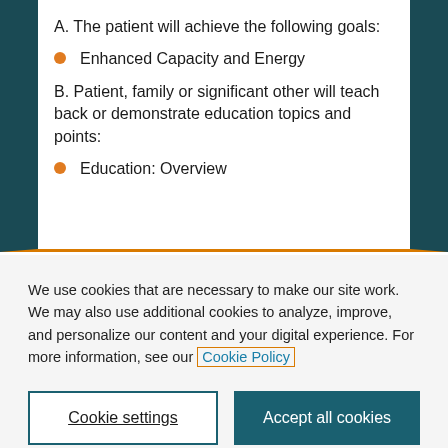A. The patient will achieve the following goals:
Enhanced Capacity and Energy
B. Patient, family or significant other will teach back or demonstrate education topics and points:
Education: Overview
We use cookies that are necessary to make our site work. We may also use additional cookies to analyze, improve, and personalize our content and your digital experience. For more information, see our Cookie Policy
Cookie settings
Accept all cookies